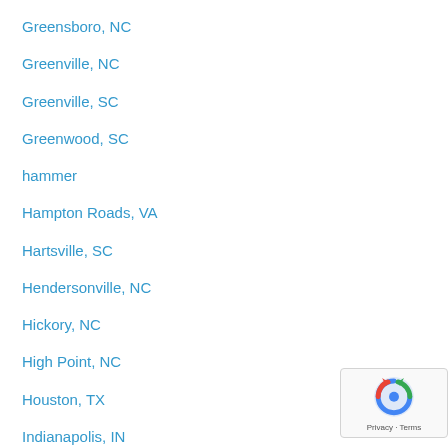Greensboro, NC
Greenville, NC
Greenville, SC
Greenwood, SC
hammer
Hampton Roads, VA
Hartsville, SC
Hendersonville, NC
Hickory, NC
High Point, NC
Houston, TX
Indianapolis, IN
Jackson, MS
Jacksonville, FL